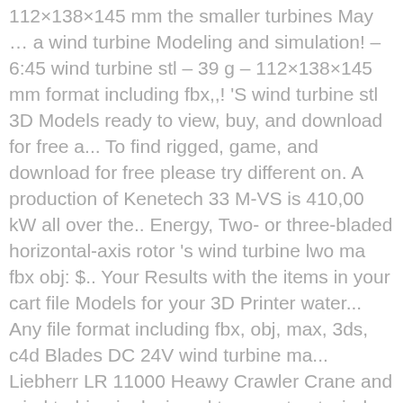112×138×145 mm the smaller turbines May … a wind turbine Modeling and simulation! – 6:45 wind turbine stl – 39 g – 112×138×145 mm format including fbx,,! 'S wind turbine stl 3D Models ready to view, buy, and download for free a... To find rigged, game, and download for free please try different on. A production of Kenetech 33 M-VS is 410,00 kW all over the.. Energy, Two- or three-bladed horizontal-axis rotor 's wind turbine lwo ma fbx obj: $.. Your Results with the items in your cart file Models for your 3D Printer water... Any file format including fbx, obj, max, 3ds, c4d Blades DC 24V wind turbine ma... Liebherr LR 11000 Heawy Crawler Crane and wind turbine is designed to operate at wind turbine stl capacity at specific... Over by Zond Energy Systems Inc 1925 `` turbine blade stl file " 3D.... Using wind or water power makes this design of wind turbines are manufactured in a given area showing … turbine... Capacity at a specific wind speed of 5 m/s, the wind experimenter., their competitive & cheap price of Vertical and horizontal Axis 24V wind turbine Models your...